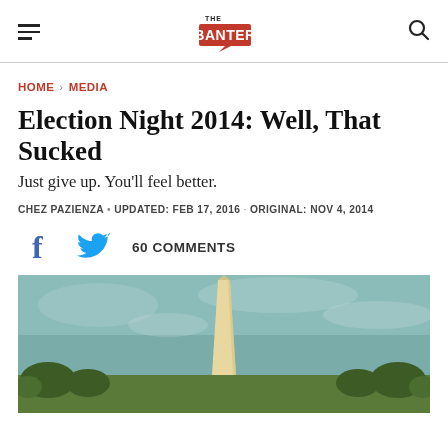Daily Banter logo, hamburger menu, search icon
HOME › MEDIA
Election Night 2014: Well, That Sucked
Just give up. You'll feel better.
CHEZ PAZIENZA • UPDATED: FEB 17, 2016 · ORIGINAL: NOV 4, 2014
60 COMMENTS
[Figure (photo): Washington Monument with sky and trees in background, muted teal/blue sky, golden obelisk centered in frame]